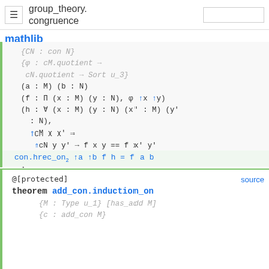≡  group_theory.congruence  [search box]
mathlib
{CN : con N}
{φ : cM.quotient → cN.quotient → Sort u_3}
(a : M) (b : N)
(f : Π (x : M) (y : N), φ ↑x ↑y)
(h : ∀ (x : M) (y : N) (x' : M) (y' : N),
⇑cM x x' →
⇑cN y y' → f x y == f x' y'
)
:
@[protected]  source
theorem add_con.induction_on
{M : Type u_1} [has_add M]
{c : add_con M}